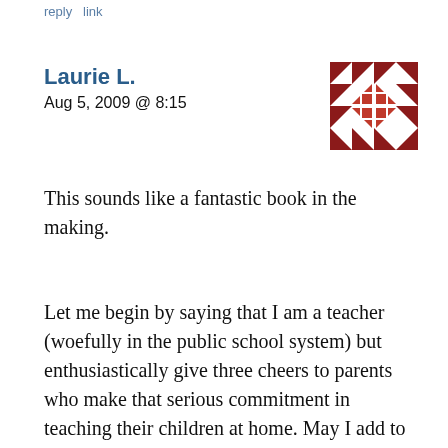reply   link
Laurie L.
Aug 5, 2009 @ 8:15
[Figure (other): Decorative avatar/icon: a red and white geometric pattern resembling a quilt square with triangles and squares arranged symmetrically]
This sounds like a fantastic book in the making.
Let me begin by saying that I am a teacher (woefully in the public school system) but enthusiastically give three cheers to parents who make that serious commitment in teaching their children at home. May I add to your writing ideas: poetry is a love of mine to teach and sometimes gets forgotten or put on the back shelf because of the fear of rhyming